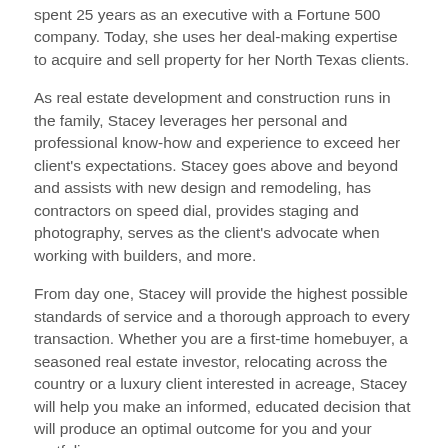spent 25 years as an executive with a Fortune 500 company. Today, she uses her deal-making expertise to acquire and sell property for her North Texas clients.
As real estate development and construction runs in the family, Stacey leverages her personal and professional know-how and experience to exceed her client's expectations. Stacey goes above and beyond and assists with new design and remodeling, has contractors on speed dial, provides staging and photography, serves as the client's advocate when working with builders, and more.
From day one, Stacey will provide the highest possible standards of service and a thorough approach to every transaction. Whether you are a first-time homebuyer, a seasoned real estate investor, relocating across the country or a luxury client interested in acreage, Stacey will help you make an informed, educated decision that will produce an optimal outcome for you and your portfolio.
Designations and Certification: